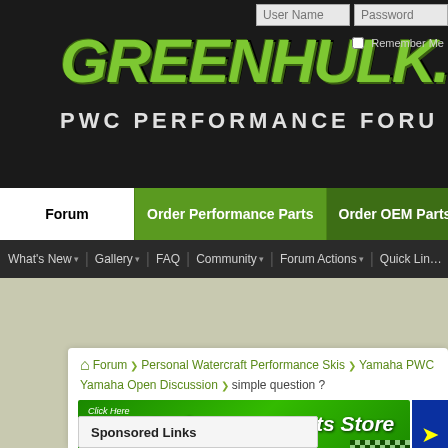[Figure (screenshot): Greenhulk.net PWC Performance Forum website header with green logo, login fields, navigation tabs (Forum, Order Performance Parts, Order OEM Parts), and secondary navigation bar]
Forum | Order Performance Parts | Order OEM Parts
What's New ▾  Gallery ▾  FAQ  Community ▾  Forum Actions ▾  Quick Links
Forum ❯ Personal Watercraft Performance Skis ❯ Yamaha PWC ... Yamaha Open Discussion ❯ simple question ?
[Figure (screenshot): Green banner ad for Performance Parts Store at pwcperformance.com]
Sponsored Links